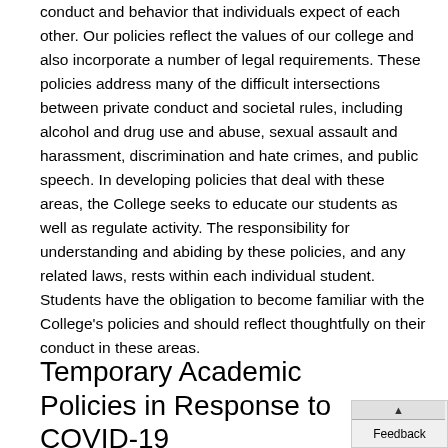conduct and behavior that individuals expect of each other. Our policies reflect the values of our college and also incorporate a number of legal requirements. These policies address many of the difficult intersections between private conduct and societal rules, including alcohol and drug use and abuse, sexual assault and harassment, discrimination and hate crimes, and public speech. In developing policies that deal with these areas, the College seeks to educate our students as well as regulate activity. The responsibility for understanding and abiding by these policies, and any related laws, rests within each individual student. Students have the obligation to become familiar with the College's policies and should reflect thoughtfully on their conduct in these areas.
Temporary Academic Policies in Response to COVID-19